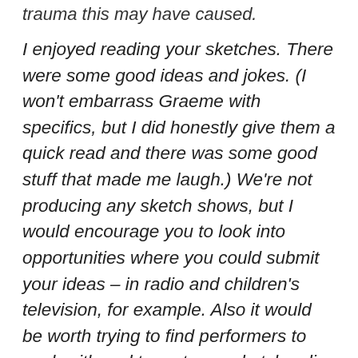trauma this may have caused.
I enjoyed reading your sketches. There were some good ideas and jokes. (I won't embarrass Graeme with specifics, but I did honestly give them a quick read and there was some good stuff that made me laugh.) We're not producing any sketch shows, but I would encourage you to look into opportunities where you could submit your ideas – in radio and children's television, for example. Also it would be worth trying to find performers to work with and try out your sketches live and/or film them.
Our main focus is developing sitcoms so if you have anything you would like to develop